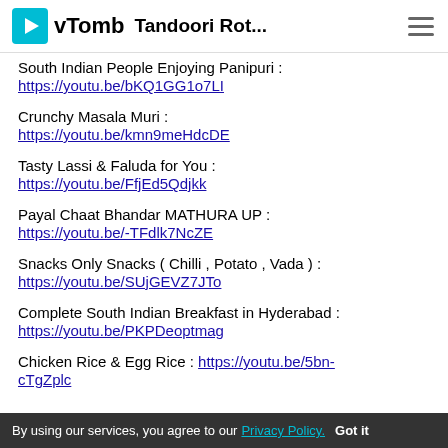vTomb — Tandoori Rot...
South Indian People Enjoying Panipuri : https://youtu.be/bKQ1GG1o7LI
Crunchy Masala Muri : https://youtu.be/kmn9meHdcDE
Tasty Lassi & Faluda for You : https://youtu.be/FfjEd5Qdjkk
Payal Chaat Bhandar MATHURA UP : https://youtu.be/-TFdlk7NcZE
Snacks Only Snacks ( Chilli , Potato , Vada ) : https://youtu.be/SUjGEVZ7JTo
Complete South Indian Breakfast in Hyderabad : https://youtu.be/PKPDeoptmag
Chicken Rice & Egg Rice : https://youtu.be/5bn-cTgZplc
By using our services, you agree to our Privacy Policy. Got it